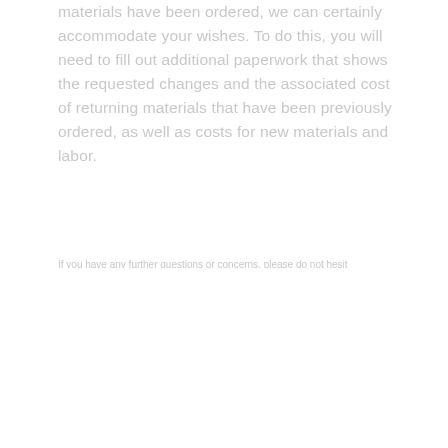materials have been ordered, we can certainly accommodate your wishes. To do this, you will need to fill out additional paperwork that shows the requested changes and the associated cost of returning materials that have been previously ordered, as well as costs for new materials and labor.
If you have any further questions or concerns, please do not hesitate to contact us.